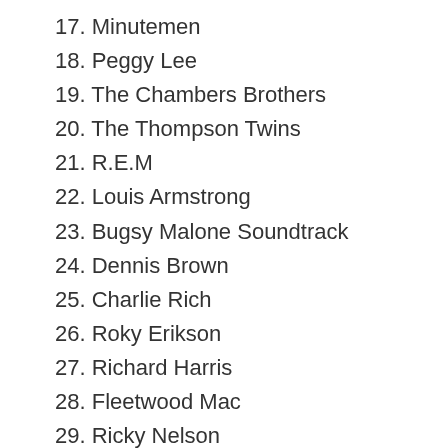17. Minutemen
18. Peggy Lee
19. The Chambers Brothers
20. The Thompson Twins
21. R.E.M
22. Louis Armstrong
23. Bugsy Malone Soundtrack
24. Dennis Brown
25. Charlie Rich
26. Roky Erikson
27. Richard Harris
28. Fleetwood Mac
29. Ricky Nelson
30. Linda Lewis
31. The Breeders
32. XTC
33. The Byrds
34. The Isley Brothers
35. The Salvation Disc...